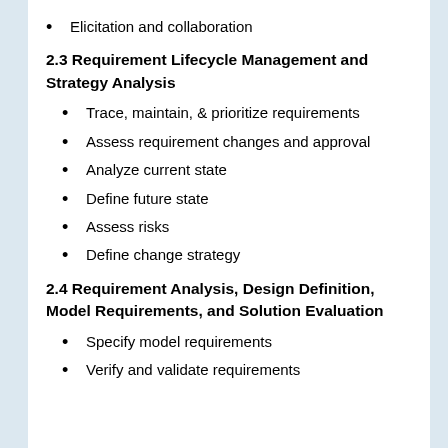Elicitation and collaboration
2.3 Requirement Lifecycle Management and Strategy Analysis
Trace, maintain, & prioritize requirements
Assess requirement changes and approval
Analyze current state
Define future state
Assess risks
Define change strategy
2.4 Requirement Analysis, Design Definition, Model Requirements, and Solution Evaluation
Specify model requirements
Verify and validate requirements